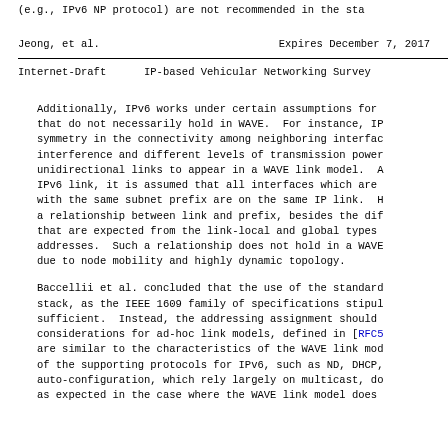(e.g., IPv6 NP protocol) are not recommended in the sta
Jeong, et al.             Expires December 7, 2017
Internet-Draft      IP-based Vehicular Networking Survey
Additionally, IPv6 works under certain assumptions for that do not necessarily hold in WAVE. For instance, IP symmetry in the connectivity among neighboring interfac interference and different levels of transmission power unidirectional links to appear in a WAVE link model. A IPv6 link, it is assumed that all interfaces which are with the same subnet prefix are on the same IP link. H a relationship between link and prefix, besides the dif that are expected from the link-local and global types addresses. Such a relationship does not hold in a WAVE due to node mobility and highly dynamic topology.
Baccellii et al. concluded that the use of the standard stack, as the IEEE 1609 family of specifications stipul sufficient. Instead, the addressing assignment should considerations for ad-hoc link models, defined in [RFC5 are similar to the characteristics of the WAVE link mod of the supporting protocols for IPv6, such as ND, DHCP, auto-configuration, which rely largely on multicast, do as expected in the case where the WAVE link model does